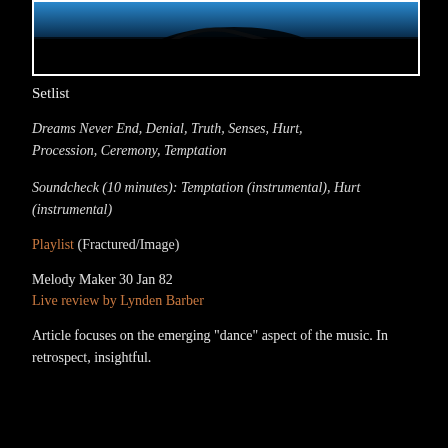[Figure (photo): A dark concert or performance photograph with blue lighting visible at the top, showing a silhouetted figure against a dark background, framed with a white border.]
Setlist
Dreams Never End, Denial, Truth, Senses, Hurt, Procession, Ceremony, Temptation
Soundcheck (10 minutes): Temptation (instrumental), Hurt (instrumental)
Playlist (Fractured/Image)
Melody Maker 30 Jan 82
Live review by Lynden Barber
Article focuses on the emerging "dance" aspect of the music. In retrospect, insightful.